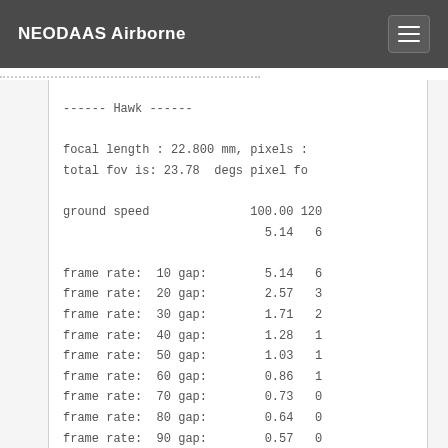NEODAAS Airborne
------ Hawk ------

focal length : 22.800 mm, pixels :
total fov is: 23.78  degs pixel fo

ground speed              100.00 120
                            5.14   6

frame rate:  10 gap:        5.14   6
frame rate:  20 gap:        2.57   3
frame rate:  30 gap:        1.71   2
frame rate:  40 gap:        1.28   1
frame rate:  50 gap:        1.03   1
frame rate:  60 gap:        0.86   1
frame rate:  70 gap:        0.73   0
frame rate:  80 gap:        0.64   0
frame rate:  90 gap:        0.57   0